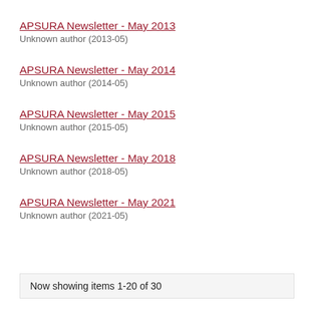APSURA Newsletter - May 2013
Unknown author (2013-05)
APSURA Newsletter - May 2014
Unknown author (2014-05)
APSURA Newsletter - May 2015
Unknown author (2015-05)
APSURA Newsletter - May 2018
Unknown author (2018-05)
APSURA Newsletter - May 2021
Unknown author (2021-05)
Now showing items 1-20 of 30